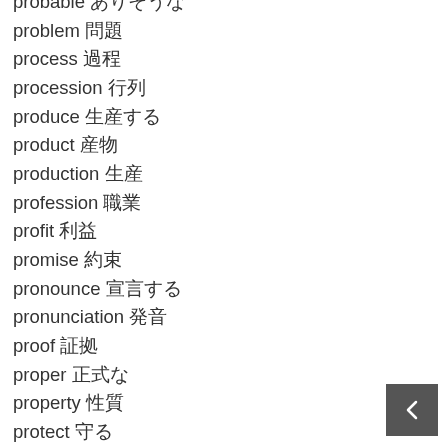probable あり そうな
problem 問題
process 過程
procession 行列
produce 生産する
product 産物
production 生産
profession 職業
profit 利益
promise 約束
pronounce 宣言する
pronunciation 発音
proof 証拠
proper 正式な
property 性質
protect 守る
protection 保護
protective 保護してくれる
proud プライドを持った